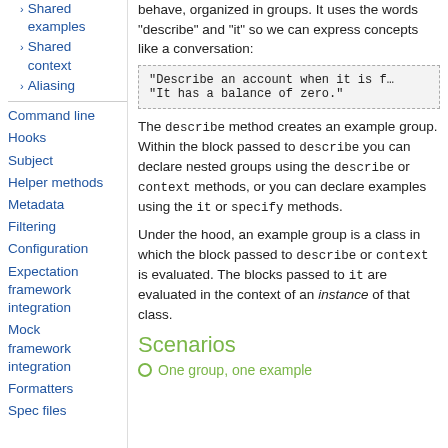Shared examples
Shared context
Aliasing
Command line
Hooks
Subject
Helper methods
Metadata
Filtering
Configuration
Expectation framework integration
Mock framework integration
Formatters
Spec files
behave, organized in groups. It uses the words "describe" and "it" so we can express concepts like a conversation:
[Figure (screenshot): Code block showing: "Describe an account when it is f... / "It has a balance of zero."]
The describe method creates an example group. Within the block passed to describe you can declare nested groups using the describe or context methods, or you can declare examples using the it or specify methods.
Under the hood, an example group is a class in which the block passed to describe or context is evaluated. The blocks passed to it are evaluated in the context of an instance of that class.
Scenarios
One group, one example